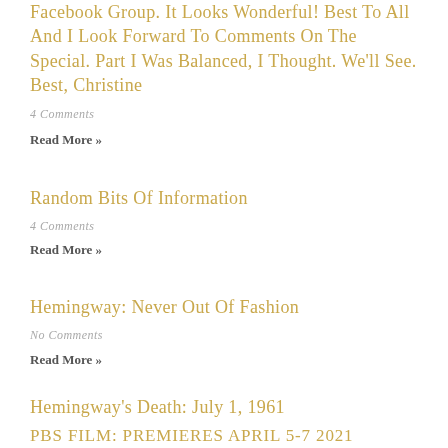Facebook Group. It Looks Wonderful! Best To All And I Look Forward To Comments On The Special. Part I Was Balanced, I Thought. We'll See. Best, Christine
4 Comments
Read More »
Random Bits Of Information
4 Comments
Read More »
Hemingway: Never Out Of Fashion
No Comments
Read More »
Hemingway's Death: July 1, 1961
4 Comments
Read More »
PBS FILM: PREMIERES APRIL 5-7 2021